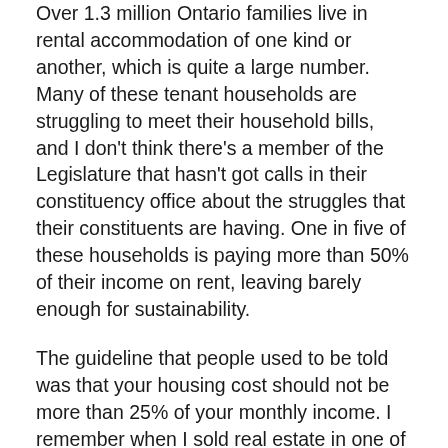Over 1.3 million Ontario families live in rental accommodation of one kind or another, which is quite a large number. Many of these tenant households are struggling to meet their household bills, and I don't think there's a member of the Legislature that hasn't got calls in their constituency office about the struggles that their constituents are having. One in five of these households is paying more than 50% of their income on rent, leaving barely enough for sustainability.
The guideline that people used to be told was that your housing cost should not be more than 25% of your monthly income. I remember when I sold real estate in one of the many jobs that I had before entering the Legislature, when I was helping people qualify and they were looking at houses, that was kind of a guide: 25%, 30% of your monthly income for your housing. Unfortunately, in Ontario that no longer reflects reality. In addition to the difficulties which half of these households are having in paying their bills, nearly one third of them are living in accommodation that